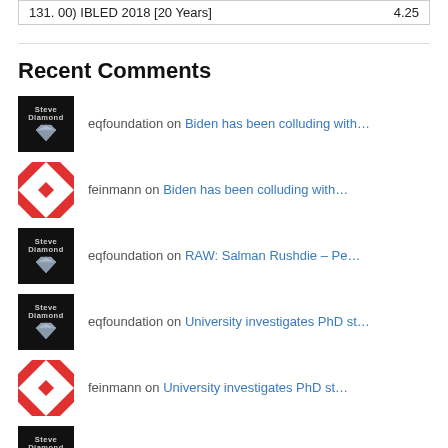131. 00) IBLED 2018 [20 Years]  4.25
Recent Comments
eqfoundation on Biden has been colluding with…
feinmann on Biden has been colluding with…
eqfoundation on RAW: Salman Rushdie – Pe…
eqfoundation on University investigates PhD st…
feinmann on University investigates PhD st…
eqfoundation on University investigates PhD st…